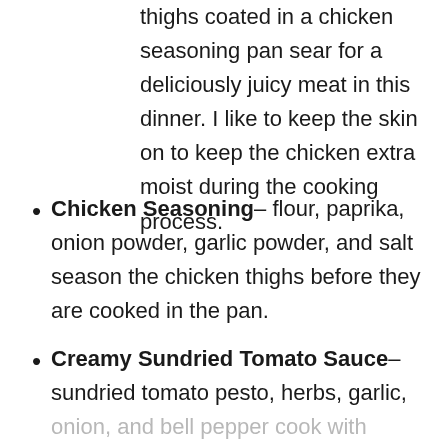thighs coated in a chicken seasoning pan sear for a deliciously juicy meat in this dinner. I like to keep the skin on to keep the chicken extra moist during the cooking process.
Chicken Seasoning– flour, paprika, onion powder, garlic powder, and salt season the chicken thighs before they are cooked in the pan.
Creamy Sundried Tomato Sauce– sundried tomato pesto, herbs, garlic, onion, and bell pepper cook with heavy cream, parmesan cheese, chicken broth,